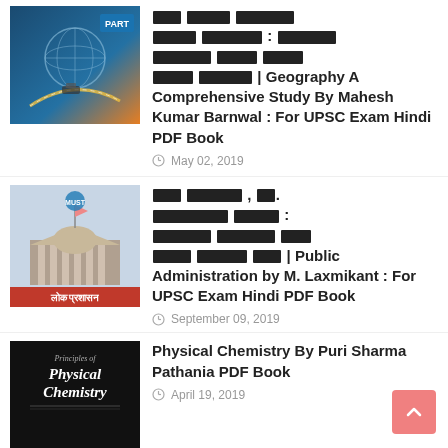[Figure (photo): Book cover for Geography A Comprehensive Study By Mahesh Kumar Barnwal]
■■■ ■■■■■ ■■■■■■■ ■■■■■ ■■■■■■■ ■■■■■■■■ : ■■■■■■■■ ■■■■■■■■ ■■■■ ■■■■■ ■■■■■■ ■■■■■■■■ | Geography A Comprehensive Study By Mahesh Kumar Barnwal : For UPSC Exam Hindi PDF Book
May 02, 2019
[Figure (photo): Book cover for Lok Prashashan (Public Administration) by M. Laxmikant]
■■■ ■■■■■■■■■ , ■■. ■■■■■■■■■■■■ ■■■■■■ : ■■■■■■■■ ■■■■■■■■ ■■■■ ■■■■■ ■■■■■■■ ■■■ | Public Administration by M. Laxmikant : For UPSC Exam Hindi PDF Book
September 09, 2019
[Figure (photo): Book cover for Principles of Physical Chemistry]
Physical Chemistry By Puri Sharma Pathania PDF Book
April 19, 2019